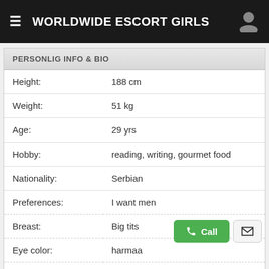WORLDWIDE ESCORT GIRLS
PERSONLIG INFO & BIO
| Field | Value |
| --- | --- |
| Height: | 188 cm |
| Weight: | 51 kg |
| Age: | 29 yrs |
| Hobby: | reading, writing, gourmet food |
| Nationality: | Serbian |
| Preferences: | I want men |
| Breast: | Big tits |
| Eye color: | harmaa |
| Perfumes: | Rihanna |
| Orientation: | Straight |